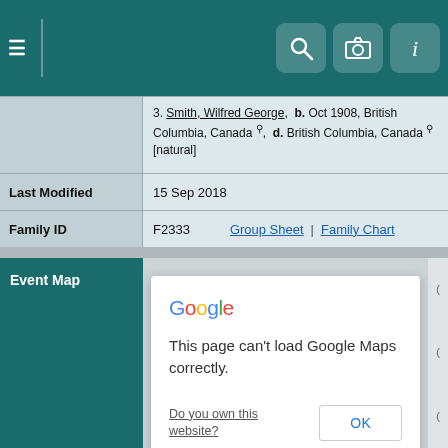Navigation bar with hamburger menu and icons for search, camera, and info
| Field | Value |
| --- | --- |
|  | 3. Smith, Wilfred George,  b. Oct 1908, British Columbia, Canada, d. British Columbia, Canada [natural] |
| Last Modified | 15 Sep 2018 |
| Family ID | F2333  |  Group Sheet  |  Family Chart |
Event Map
[Figure (screenshot): Google Maps error dialog: 'This page can't load Google Maps correctly.' with a link 'Do you own this website?' and an OK button, overlaid on a grey map background.]